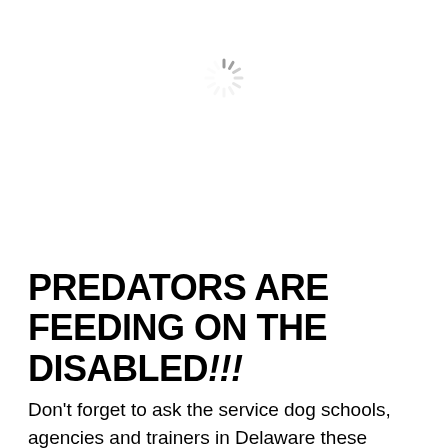[Figure (other): A loading spinner icon (circular dashed spinner in gray) centered near the top of the page]
PREDATORS ARE FEEDING ON THE DISABLED!!!
Don't forget to ask the service dog schools, agencies and trainers in Delaware these